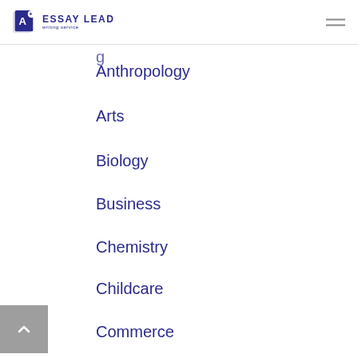ESSAY LEAD writing service
Anthropology
Arts
Biology
Business
Chemistry
Childcare
Commerce
Communication
Computer Science
Construction
Criminology